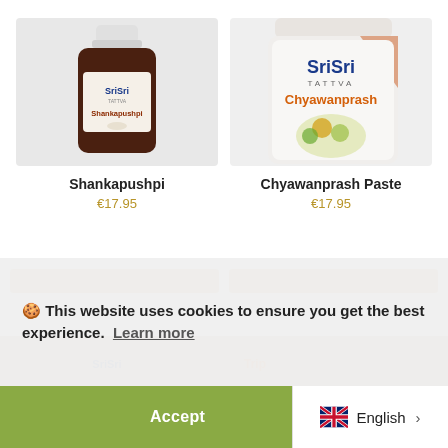[Figure (photo): Product photo of Sri Sri Tattva Shankapushpi supplement bottle with brown glass jar and white label showing white flower]
Shankapushpi
€17.95
[Figure (photo): Product photo of Sri Sri Tattva Chyawanprash Paste white tub with orange and navy blue branding and herbs/amla illustration]
Chyawanprash Paste
€17.95
🍪 This website uses cookies to ensure you get the best experience.  Learn more
Accept
English  >